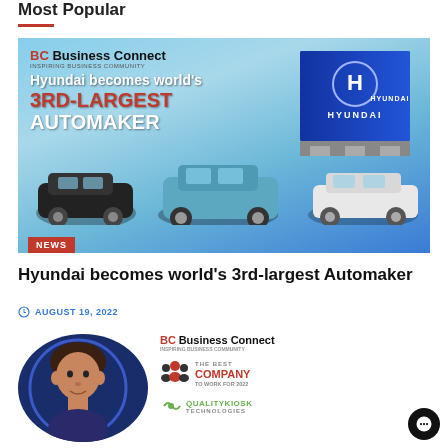Most Popular
[Figure (photo): Business Connect magazine banner showing 'Hyundai becomes world's 3RD-LARGEST AUTOMAKER' headline with Hyundai cars and dealership building in blue]
NEWS
Hyundai becomes world's 3rd-largest Automaker
AUGUST 19, 2022
[Figure (photo): Business Connect magazine article image showing a man portrait with The Best Company to Work For 2022 badge and QualityKiosk Technologies logo]